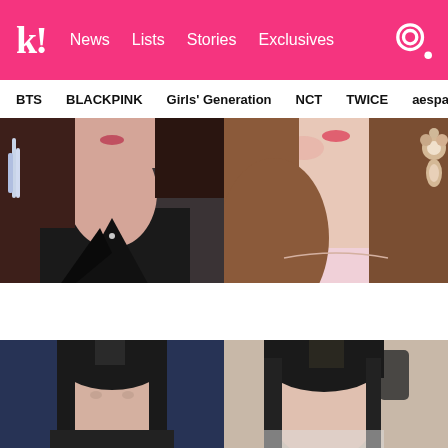k! News Lists Stories Exclusives
BTS BLACKPINK Girls' Generation NCT TWICE aespa
[Figure (photo): Two side-by-side photos of women wearing statement earrings, focusing on jawline area. Left photo shows woman in black outfit with crystal drop earrings. Right photo shows woman with long brown hair wearing floral earrings, wearing light pink top. Dot carousel indicators visible at bottom.]
These bold earrings pull the attention to the jawline of whoever is wearing them, giving the appearance of a sharper jawline.
[Figure (photo): Two side-by-side photos showing women's hair and heads from above. Left photo shows woman with dark hair against blue background. Right photo shows woman with dark hair against beige/neutral background with a dark object visible.]